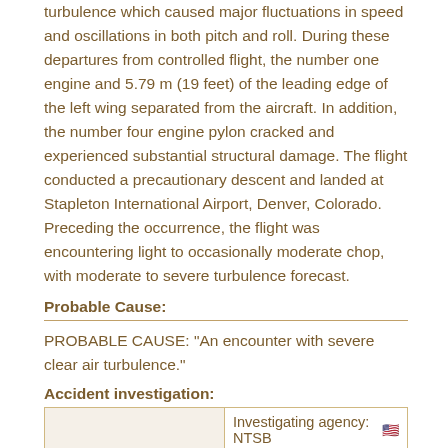turbulence which caused major fluctuations in speed and oscillations in both pitch and roll. During these departures from controlled flight, the number one engine and 5.79 m (19 feet) of the leading edge of the left wing separated from the aircraft. In addition, the number four engine pylon cracked and experienced substantial structural damage. The flight conducted a precautionary descent and landed at Stapleton International Airport, Denver, Colorado. Preceding the occurrence, the flight was encountering light to occasionally moderate chop, with moderate to severe turbulence forecast.
Probable Cause:
PROBABLE CAUSE: "An encounter with severe clear air turbulence."
Accident investigation:
|  | Investigating agency |
| --- | --- |
|  | NTSB 🇺🇸 |